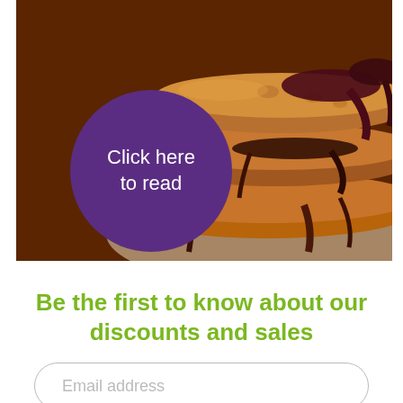[Figure (photo): Stack of fluffy pancakes with dark berry/chocolate syrup drizzled over them, on a plate. A purple circular button overlay reads 'Click here to read'.]
Be the first to know about our discounts and sales
Email address
Subscribe